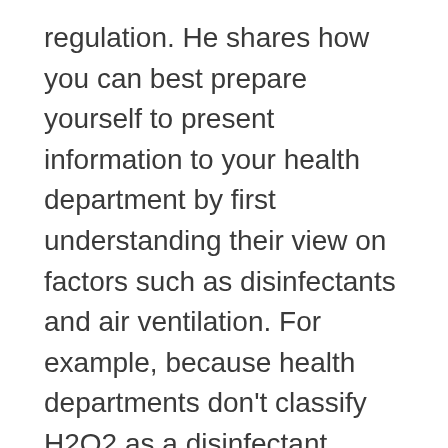regulation. He shares how you can best prepare yourself to present information to your health department by first understanding their view on factors such as disinfectants and air ventilation. For example, because health departments don't classify H2O2 as a disinfectant, Jason talks about the verbiage you'll want to use in explaining the efficacy of H2O2 + UV.
Our hosts pick Jason's brain on bodily fluids 1, 2, and 3! What risks do they pose, if any, and what should we do when we detect them in our water. He also talks